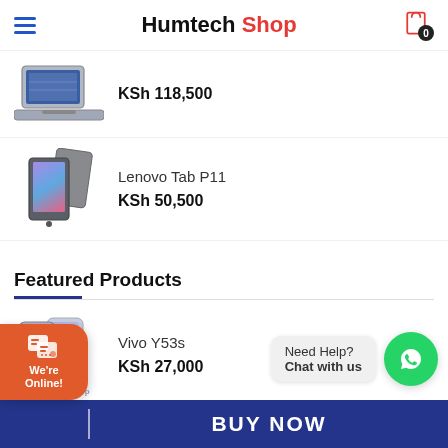Humtech Shop — navigation header with hamburger menu and cart (0 items)
KSh 118,500
Lenovo Tab P11
KSh 50,500
Featured Products
Vivo Y53s
KSh 27,000
Oppo Reno 7 5G
Need Help?
Chat with us
We're Online!
BUY NOW